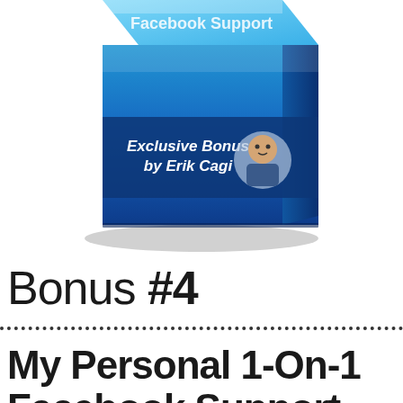[Figure (illustration): 3D product box with blue gradient design showing 'Facebook Support' text at top and 'Exclusive Bonus by Erik Cagi' with a person's headshot photo on the front face of the box]
Bonus #4
My Personal 1-On-1 Facebook Support